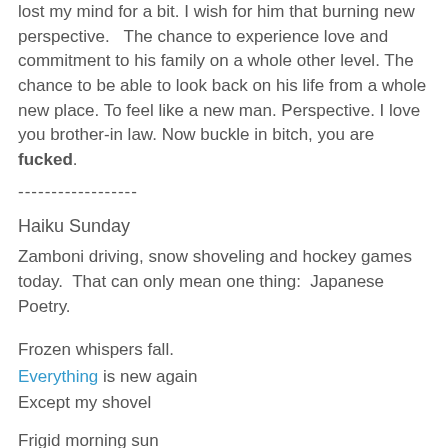lost my mind for a bit.  I wish for him that burning new perspective.    The chance to experience love and commitment to his family on a whole other level.  The chance to be able to look back on his life from a whole new place.  To feel like a new man.  Perspective.  I love you brother-in law.  Now buckle in bitch, you are fucked.
------------------
Haiku Sunday
Zamboni driving, snow shoveling and hockey games today.  That can only mean one thing:  Japanese Poetry.
Frozen whispers fall.
Everything is new again
Except my shovel
Frigid morning sun
no warmth, only light on ice